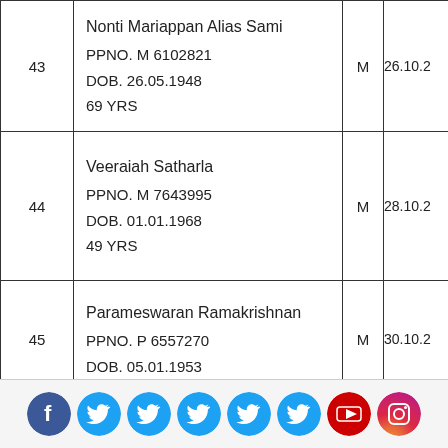| No. | Name / Passport / DOB / Age | Gender | Date |
| --- | --- | --- | --- |
| 43 | Nonti Mariappan Alias Sami
PPNO. M 6102821
DOB. 26.05.1948
69 YRS | M | 26.10.2... |
| 44 | Veeraiah Satharla
PPNO. M 7643995
DOB. 01.01.1968
49 YRS | M | 28.10.2... |
| 45 | Parameswaran Ramakrishnan
PPNO. P 6557270
DOB. 05.01.1953 | M | 30.10.2... |
Social media icons: Facebook, Twitter (x6), YouTube, Instagram